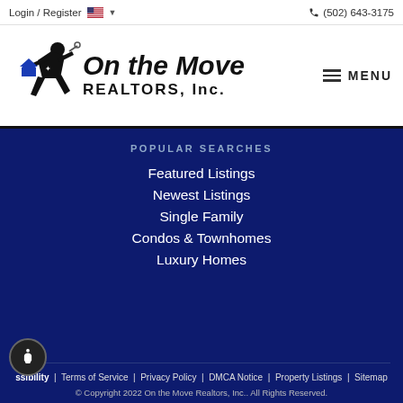Login / Register  🇺🇸 ▾  (502) 643-3175
[Figure (logo): On the Move REALTORS, Inc. logo with running figure holding a house key, plus hamburger MENU button]
POPULAR SEARCHES
Featured Listings
Newest Listings
Single Family
Condos & Townhomes
Luxury Homes
Accessibility  |  Terms of Service  |  Privacy Policy  |  DMCA Notice  |  Property Listings  |  Sitemap
© Copyright 2022 On the Move Realtors, Inc.. All Rights Reserved.